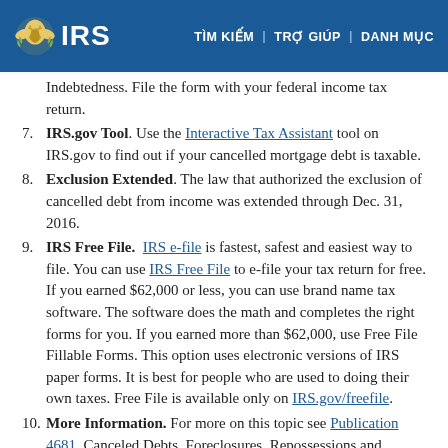IRS | TÌM KIẾM | TRỢ GIÚP | DANH MỤC
(continued) Indebtedness. File the form with your federal income tax return.
7. IRS.gov Tool. Use the Interactive Tax Assistant tool on IRS.gov to find out if your cancelled mortgage debt is taxable.
8. Exclusion Extended. The law that authorized the exclusion of cancelled debt from income was extended through Dec. 31, 2016.
9. IRS Free File. IRS e-file is fastest, safest and easiest way to file. You can use IRS Free File to e-file your tax return for free. If you earned $62,000 or less, you can use brand name tax software. The software does the math and completes the right forms for you. If you earned more than $62,000, use Free File Fillable Forms. This option uses electronic versions of IRS paper forms. It is best for people who are used to doing their own taxes. Free File is available only on IRS.gov/freefile.
10. More Information. For more on this topic see Publication 4681, Canceled Debts, Foreclosures, Repossessions and